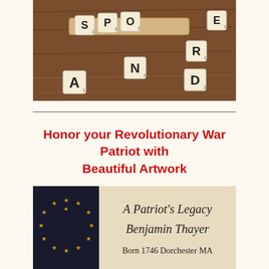[Figure (photo): Photo of Scrabble tiles scattered on a wooden surface, spelling out letters S, P, O, N, A, R, D, E, N with point values visible on the tiles]
Honor your Revolutionary War Patriot with Beautiful Artwork
[Figure (photo): Image showing a circular arrangement of gold stars on a dark background (colonial flag style) on the left, and a parchment-style text on the right reading 'A Patriot's Legacy, Benjamin Thayer, Born 1746 Dorchester MA']